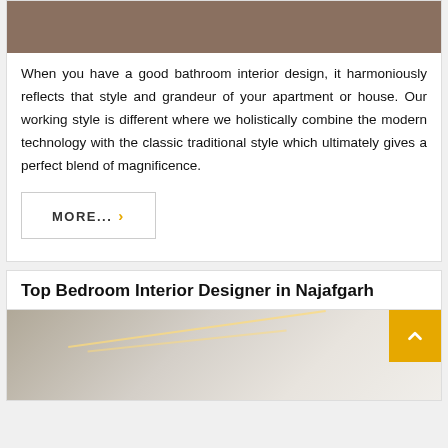[Figure (photo): Top portion of a bathroom interior photo, cropped]
When you have a good bathroom interior design, it harmoniously reflects that style and grandeur of your apartment or house. Our working style is different where we holistically combine the modern technology with the classic traditional style which ultimately gives a perfect blend of magnificence.
MORE... ›
Top Bedroom Interior Designer in Najafgarh
[Figure (photo): Bedroom interior photo showing modern ceiling with LED lighting and curtains]